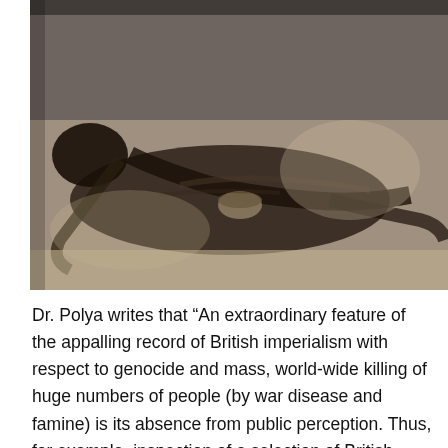[Figure (photo): Black and white photograph of an extremely emaciated person lying down, presumably a famine victim, with a bowl visible nearby.]
Dr. Polya writes that “An extraordinary feature of the appalling record of British imperialism with respect to genocide and mass, world-wide killing of huge numbers of people (by war disease and famine) is its absence from public perception. Thus, for example, inspection of a selection of British history texts reveals that mention of the appalling Irish Famine of 1845-47 is confined in each case to several lines (although there is of course detailed discussion of the attendant, related political debate about the Corn Laws). It is hardly surprising that there should be no mention of famine in India or Bengal.”